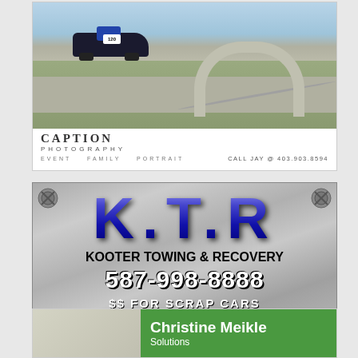[Figure (photo): Advertisement for Caption Photography showing a go-kart (number 120) on a race track with a curved section. Bottom shows company info: CAPTION PHOTOGRAPHY, EVENT FAMILY PORTRAIT, CALL JAY @ 403.903.8594]
[Figure (photo): Advertisement for K.T.R Kooter Towing & Recovery on metallic grey background with decorative corner bolts. Large blue 3D letters K.T.R, then KOOTER TOWING & RECOVERY, 587-998-8888, $$ FOR SCRAP CARS]
[Figure (photo): Partial advertisement for Christine Meikle showing a green banner with white text Christine Meikle and partial text below, with a photo on the left side]